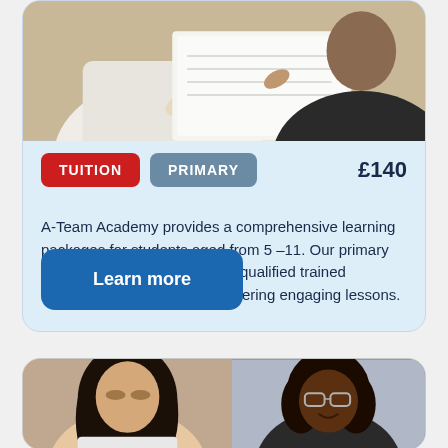[Figure (photo): Two students working at a desk, viewed from above, writing on papers]
TUITION   PRIMARY   £140
A-Team Academy provides a comprehensive learning packages for students aged from 5 –11. Our primary sessions are staffed with fully qualified trained teachers with experience delivering engaging lessons.
Learn more
[Figure (photo): Two women, one with long dark hair looking down, one with glasses looking to the side]